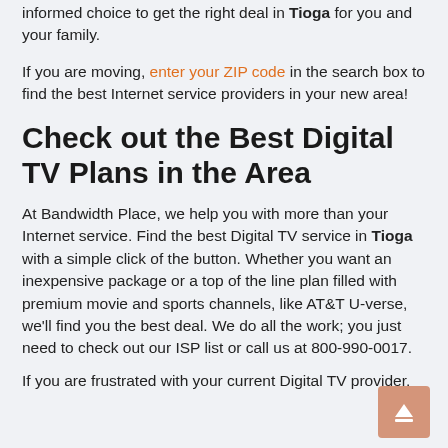informed choice to get the right deal in Tioga for you and your family.
If you are moving, enter your ZIP code in the search box to find the best Internet service providers in your new area!
Check out the Best Digital TV Plans in the Area
At Bandwidth Place, we help you with more than your Internet service. Find the best Digital TV service in Tioga with a simple click of the button. Whether you want an inexpensive package or a top of the line plan filled with premium movie and sports channels, like AT&T U-verse, we'll find you the best deal. We do all the work; you just need to check out our ISP list or call us at 800-990-0017.
If you are frustrated with your current Digital TV provider,